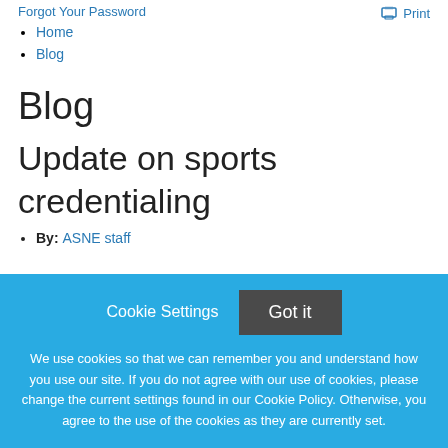Forgot Your Password
Home
Blog
Print
Blog
Update on sports credentialing
By: ASNE staff
Cookie Settings  Got it
We use cookies so that we can remember you and understand how you use our site. If you do not agree with our use of cookies, please change the current settings found in our Cookie Policy. Otherwise, you agree to the use of the cookies as they are currently set.